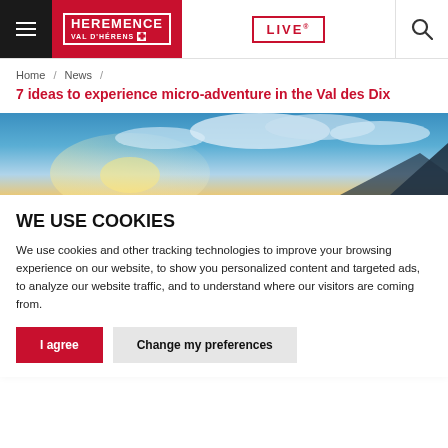Heremence Val d'Hérens | LIVE
Home / News /
7 ideas to experience micro-adventure in the Val des Dix
[Figure (photo): Panoramic mountain landscape with blue sky and clouds, alpine scenery of Val des Dix]
WE USE COOKIES
We use cookies and other tracking technologies to improve your browsing experience on our website, to show you personalized content and targeted ads, to analyze our website traffic, and to understand where our visitors are coming from.
I agree | Change my preferences